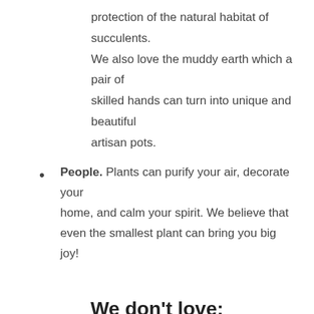protection of the natural habitat of succulents. We also love the muddy earth which a pair of skilled hands can turn into unique and beautiful artisan pots.
People. Plants can purify your air, decorate your home, and calm your spirit. We believe that even the smallest plant can bring you big joy!
We don’t love:
Plastic. Traditional nurseries use a lot of plastics. We will not. Our plants are mostly grown in clay pots and recycled cardboard pots.